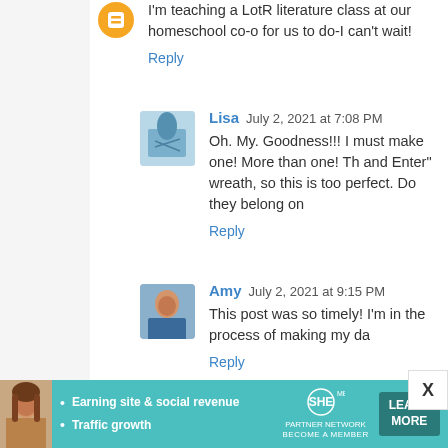I'm teaching a LotR literature class at our homeschool co-o for us to do-I can't wait!
Reply
Lisa  July 2, 2021 at 7:08 PM
Oh. My. Goodness!!! I must make one! More than one! Th and Enter" wreath, so this is too perfect. Do they belong on
Reply
Amy  July 2, 2021 at 9:15 PM
This post was so timely! I'm in the process of making my da
Reply
Kate Halleron  July 2, 2021 at 10:52 PM
I, too, have been to Hobbiton. I was really proud that I only
Reply
[Figure (infographic): SHE Partner Network advertisement banner with woman photo, bullet points about earning site & social revenue and traffic growth, SHE logo, and Learn More button]